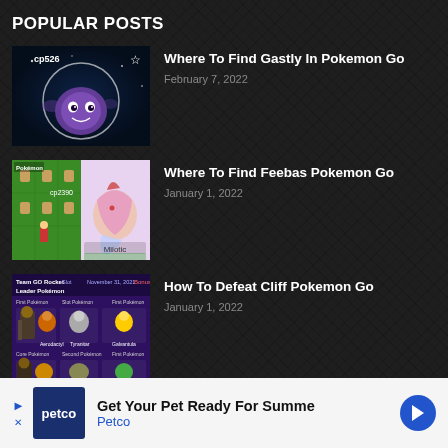POPULAR POSTS
[Figure (photo): Pokemon Go screenshot showing Gastly with CP526]
Where To Find Gastly In Pokemon Go
February 7, 2022
[Figure (photo): Pokemon Go screenshot showing Feebas/Milotic with CP2390]
Where To Find Feebas Pokemon Go
January 1, 2022
[Figure (photo): Team GO Rocket Leader Pokemon chart showing Cliff's lineup]
How To Defeat Cliff Pokemon Go
January 1, 2022
Get Your Pet Ready For Summe Petco